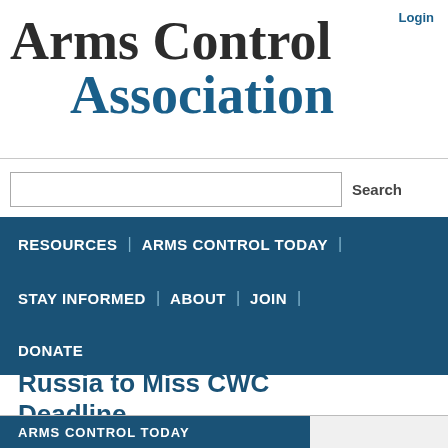Login
Arms Control Association
Search
RESOURCES | ARMS CONTROL TODAY | STAY INFORMED | ABOUT | JOIN | DONATE
Russia to Miss CWC Deadline
ARMS CONTROL TODAY